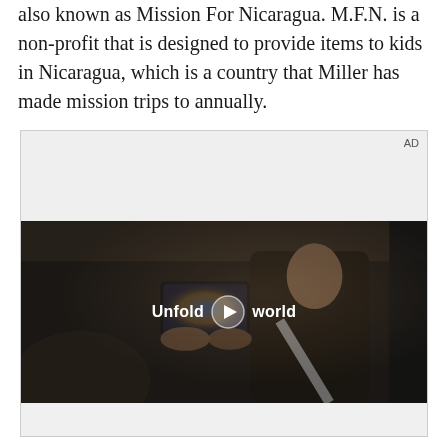also known as Mission For Nicaragua. M.F.N. is a non-profit that is designed to provide items to kids in Nicaragua, which is a country that Miller has made mission trips to annually.
[Figure (other): Advertisement video player showing a woman holding a foldable smartphone in a car, with text overlay 'Unfold your world' and a play button. AD label in top right corner.]